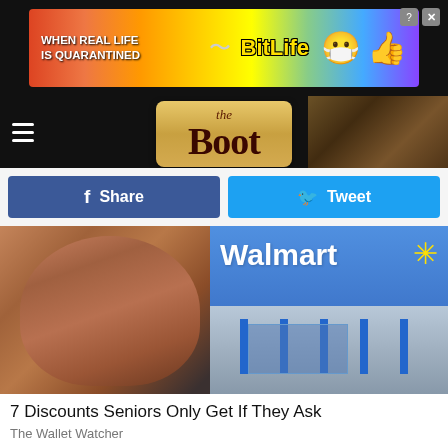[Figure (screenshot): BitLife app advertisement banner with rainbow background, text 'WHEN REAL LIFE IS QUARANTINED' and BitLife logo with mask emoji]
[Figure (logo): The Boot website logo on gold/tan background with dark header bar and hamburger menu]
[Figure (screenshot): Facebook Share button (blue) and Twitter Tweet button (light blue) social sharing bar]
[Figure (photo): Composite image of elderly man's wrinkled face on left and Walmart store exterior with blue sign and yellow spark logo on right]
7 Discounts Seniors Only Get If They Ask
The Wallet Watcher
[Figure (screenshot): BitLife advertisement banner with devil emoji, person emoji, angel emoji, and text 'BitLife REAL CHOICES']
[Figure (photo): Partial bottom image strip, dark/indistinct scene]